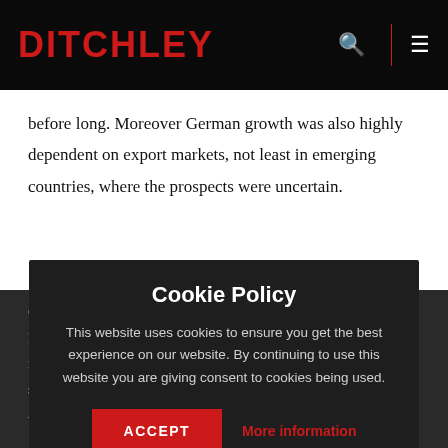DITCHLEY
before long. Moreover German growth was also highly dependent on export markets, not least in emerging countries, where the prospects were uncertain.
Others suggested that such fears were much overdone. Germany had shown her adaptability before, and would do so again. The resilience of the German economy in particular in periods of social readjustment should not be underestimated.
Whatever the... we were agreed that economic
[Figure (screenshot): Cookie Policy modal overlay on dark background with ACCEPT button and More information link]
Cookie Policy
This website uses cookies to ensure you get the best experience on our website. By continuing to use this website you are giving consent to cookies being used.
ACCEPT
More information